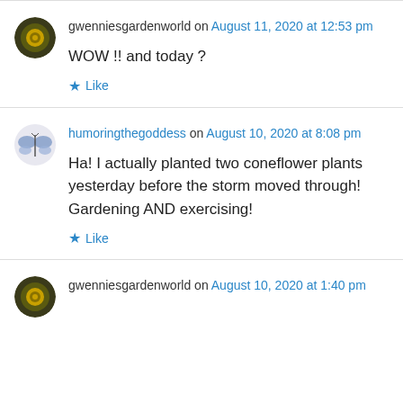gwenniesgardenworld on August 11, 2020 at 12:53 pm
WOW !! and today ?
Like
humoringthegoddess on August 10, 2020 at 8:08 pm
Ha! I actually planted two coneflower plants yesterday before the storm moved through! Gardening AND exercising!
Like
gwenniesgardenworld on August 10, 2020 at 1:40 pm